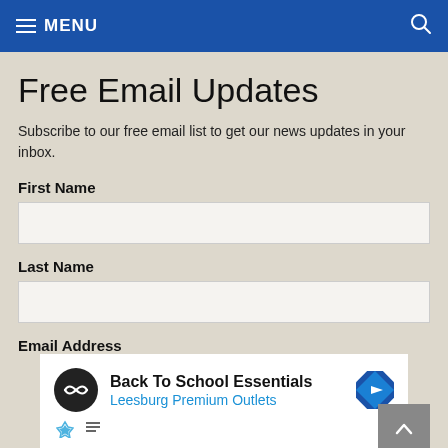MENU
Free Email Updates
Subscribe to our free email list to get our news updates in your inbox.
First Name
Last Name
Email Address
[Figure (infographic): Advertisement banner: Back To School Essentials - Leesburg Premium Outlets with logo and navigation arrow icon]